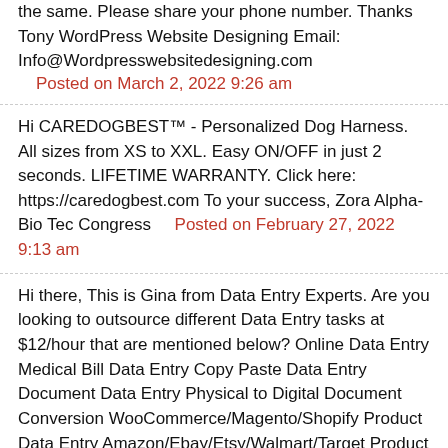the same. Please share your phone number. Thanks Tony WordPress Website Designing Email: Info@Wordpresswebsitedesigning.com
Posted on March 2, 2022 9:26 am
Hi CAREDOGBEST™ - Personalized Dog Harness. All sizes from XS to XXL. Easy ON/OFF in just 2 seconds. LIFETIME WARRANTY. Click here: https://caredogbest.com To your success, Zora Alpha-Bio Tec Congress    Posted on February 27, 2022 9:13 am
Hi there, This is Gina from Data Entry Experts. Are you looking to outsource different Data Entry tasks at $12/hour that are mentioned below? Online Data Entry Medical Bill Data Entry Copy Paste Data Entry Document Data Entry Physical to Digital Document Conversion WooCommerce/Magento/Shopify Product Data Entry Amazon/Ebay/Etsy/Walmart/Target Product